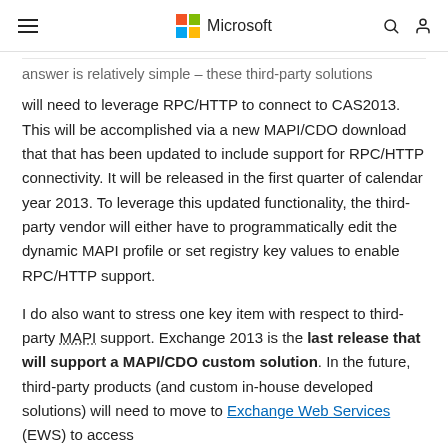Microsoft
answer is relatively simple – these third-party solutions will need to leverage RPC/HTTP to connect to CAS2013. This will be accomplished via a new MAPI/CDO download that that has been updated to include support for RPC/HTTP connectivity. It will be released in the first quarter of calendar year 2013. To leverage this updated functionality, the third-party vendor will either have to programmatically edit the dynamic MAPI profile or set registry key values to enable RPC/HTTP support.
I do also want to stress one key item with respect to third-party MAPI support. Exchange 2013 is the last release that will support a MAPI/CDO custom solution. In the future, third-party products (and custom in-house developed solutions) will need to move to Exchange Web Services (EWS) to access